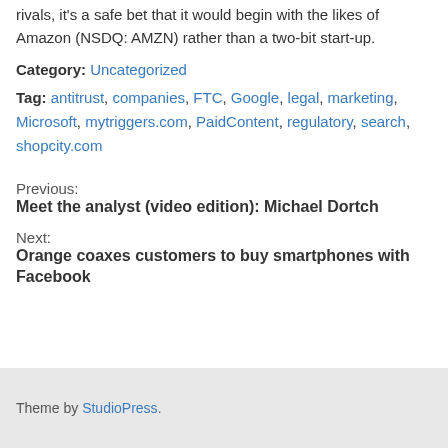rivals, it's a safe bet that it would begin with the likes of Amazon (NSDQ: AMZN) rather than a two-bit start-up.
Category: Uncategorized
Tag: antitrust, companies, FTC, Google, legal, marketing, Microsoft, mytriggers.com, PaidContent, regulatory, search, shopcity.com
Previous:
Meet the analyst (video edition): Michael Dortch
Next:
Orange coaxes customers to buy smartphones with Facebook
Theme by StudioPress.